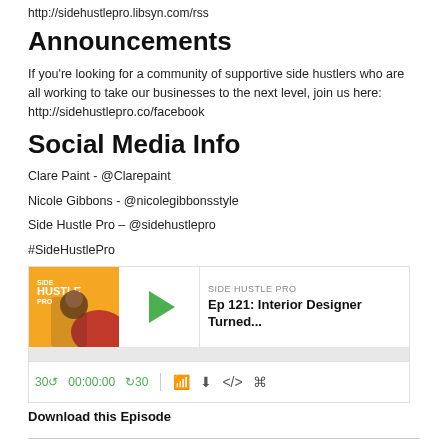http://sidehustlepro.libsyn.com/rss
Announcements
If you’re looking for a community of supportive side hustlers who are all working to take our businesses to the next level, join us here: http://sidehustlepro.co/facebook
Social Media Info
Clare Paint - @Clarepaint
Nicole Gibbons - @nicolegibbonsstyle
Side Hustle Pro – @sidehustlepro
#SideHustlePro
[Figure (screenshot): Podcast player widget for Side Hustle Pro, Ep 121: Interior Designer Turned..., showing play button, progress bar at 00:00:00, and playback controls]
Download this Episode